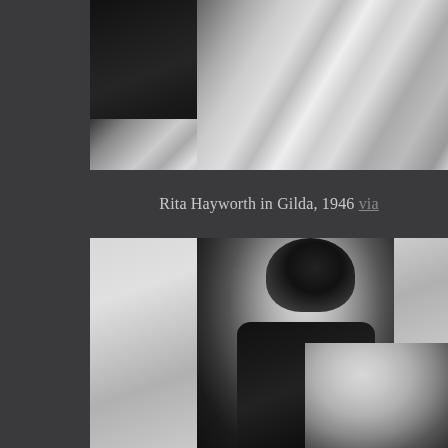[Figure (photo): Black and white photo showing dark fabric/clothing against silvery satin fabric, cropped at top of page]
Rita Hayworth in Gilda, 1946 via
[Figure (photo): Black and white promotional photo of a man and woman in a romantic close-up pose, the man in a dark suit leaning toward a woman below him, from a classic Hollywood film]